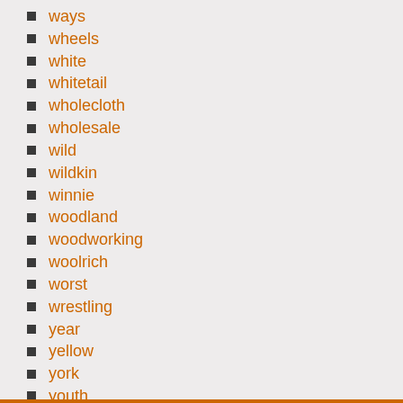ways
wheels
white
whitetail
wholecloth
wholesale
wild
wildkin
winnie
woodland
woodworking
woolrich
worst
wrestling
year
yellow
york
youth
zero
zipper
zoids
zone